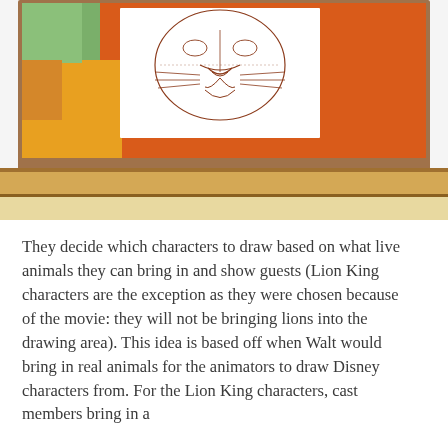[Figure (photo): A framed drawing of a lion's face (nose, mouth, whiskers) on white paper mounted in a wooden frame with a colorful orange, red, yellow and green painted background.]
They decide which characters to draw based on what live animals they can bring in and show guests (Lion King characters are the exception as they were chosen because of the movie: they will not be bringing lions into the drawing area). This idea is based off when Walt would bring in real animals for the animators to draw Disney characters from. For the Lion King characters, cast members bring in a